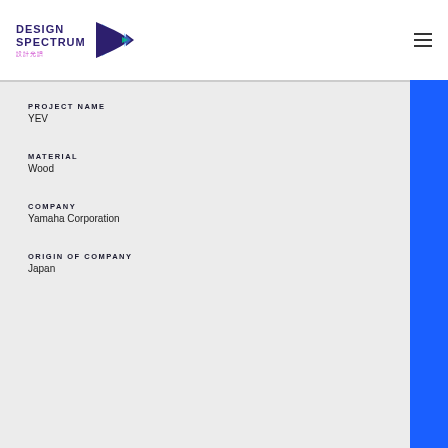[Figure (logo): Design Spectrum logo with stylized D graphic and Chinese text 設計光譜]
PROJECT NAME
YEV
MATERIAL
Wood
COMPANY
Yamaha Corporation
ORIGIN OF COMPANY
Japan